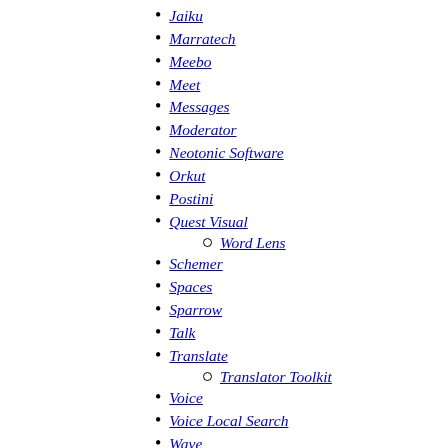Jaiku
Marratech
Meebo
Meet
Messages
Moderator
Neotonic Software
Orkut
Postini
Quest Visual
Word Lens
Schemer
Spaces
Sparrow
Talk
Translate
Translator Toolkit
Voice
Voice Local Search
Wave
Aardvark
Alerts
Answers
Base